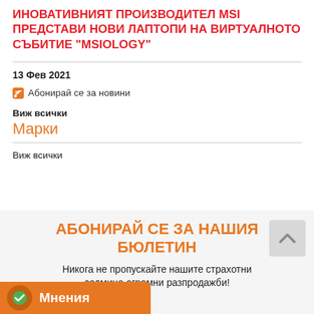ИНОВАТИВНИЯТ ПРОИЗВОДИТЕЛ MSI ПРЕДСТАВИ НОВИ ЛАПТОПИ НА ВИРТУАЛНОТО СЪБИТИЕ "MSIOLOGY"
13 Фев 2021
Абонирай се за новини
Виж всички
Марки
Виж всички
АБОНИРАЙ СЕ ЗА НАШИЯ БЮЛЕТИН
Никога не пропускайте нашите страхотни седмица огромни разпродажби!
Мнения